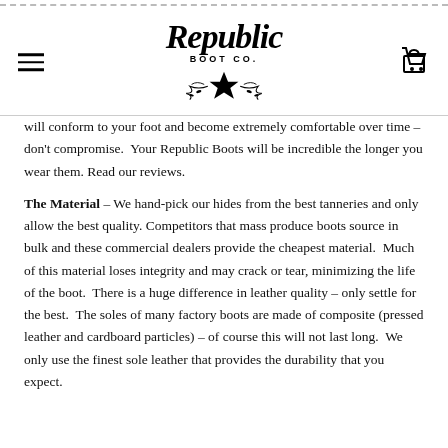Republic Boot Co. — website header with logo, hamburger menu, and cart icon
[Figure (logo): Republic Boot Co. cursive script logo with a star and decorative flourishes below]
will conform to your foot and become extremely comfortable over time – don't compromise.  Your Republic Boots will be incredible the longer you wear them. Read our reviews.
The Material – We hand-pick our hides from the best tanneries and only allow the best quality. Competitors that mass produce boots source in bulk and these commercial dealers provide the cheapest material.  Much of this material loses integrity and may crack or tear, minimizing the life of the boot.  There is a huge difference in leather quality – only settle for the best.  The soles of many factory boots are made of composite (pressed leather and cardboard particles) – of course this will not last long.  We only use the finest sole leather that provides the durability that you expect.